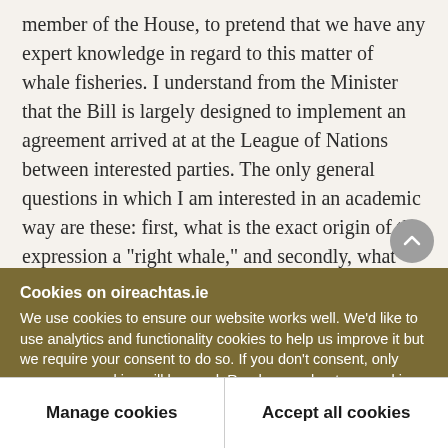member of the House, to pretend that we have any expert knowledge in regard to this matter of whale fisheries. I understand from the Minister that the Bill is largely designed to implement an agreement arrived at at the League of Nations between interested parties. The only general questions in which I am interested in an academic way are these: first, what is the exact origin of the expression a "right whale," and secondly, what information is the Minister in a position to give us as to the general
Cookies on oireachtas.ie
We use cookies to ensure our website works well. We'd like to use analytics and functionality cookies to help us improve it but we require your consent to do so. If you don't consent, only necessary cookies will be used. Read more about our cookies
Manage cookies
Accept all cookies